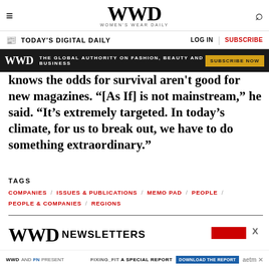WWD WOMEN'S WEAR DAILY
TODAY'S DIGITAL DAILY  LOG IN  SUBSCRIBE
[Figure (infographic): WWD advertisement banner: dark background with 'WWD' logo, 'THE GLOBAL AUTHORITY ON FASHION, BEAUTY AND BUSINESS' tagline, and 'SUBSCRIBE NOW' button in gold]
knows the odds for survival aren't good for new magazines. “[As If] is not mainstream,” he said. “It’s extremely targeted. In today’s climate, for us to break out, we have to do something extraordinary.”
TAGS
COMPANIES / ISSUES & PUBLICATIONS / MEMO PAD / PEOPLE / PEOPLE & COMPANIES / REGIONS
[Figure (infographic): WWD Newsletters section header with red bar and X close button]
[Figure (infographic): Bottom advertisement bar: WWD AND FN PRESENT FIXING_FIT A SPECIAL REPORT with DOWNLOAD THE REPORT button and aetm logo]